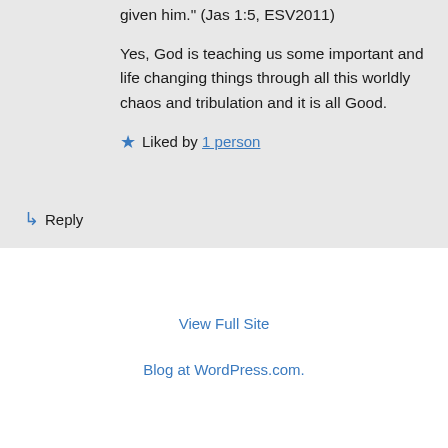given him." (Jas 1:5, ESV2011)
Yes, God is teaching us some important and life changing things through all this worldly chaos and tribulation and it is all Good.
Liked by 1 person
↳ Reply
View Full Site
Blog at WordPress.com.